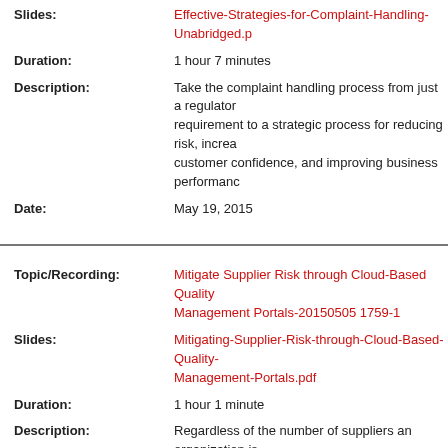Slides: Effective-Strategies-for-Complaint-Handling-Unabridged.p...
Duration: 1 hour 7 minutes
Description: Take the complaint handling process from just a regulatory requirement to a strategic process for reducing risk, increasing customer confidence, and improving business performance.
Date: May 19, 2015
Topic/Recording: Mitigate Supplier Risk through Cloud-Based Quality Management Portals-20150505 1759-1
Slides: Mitigating-Supplier-Risk-through-Cloud-Based-Quality-Management-Portals.pdf
Duration: 1 hour 1 minute
Description: Regardless of the number of suppliers an organization is managing, having an effective technological infrastructure for supplier management can streamline quality assurance practices, create efficiencies in supplier oversight and ultimately mitigate risk in Quality Management compliance throughout the supply chain.
This webinar will discuss how Enterprise Quality Management solutions can expedite communication and transparency between an organization and its suppliers, while mitigating of data security. As organizations centralize the management...